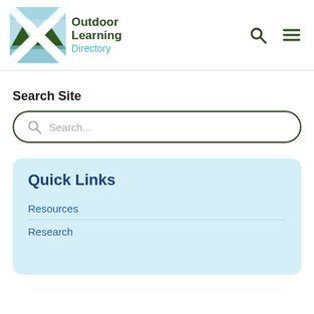[Figure (logo): Outdoor Learning Directory logo with Scottish saltire flag graphic and text]
Search Site
Search...
Quick Links
Resources
Research